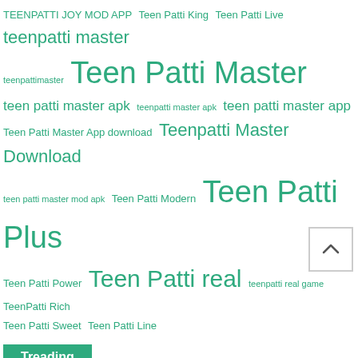[Figure (infographic): Tag cloud of Teen Patti related app links in teal/green color at various font sizes]
Treading
Rummy Jai Apk Download ₹55 Bonus Teen Patti Jai App
Rummy Dhan Apk Download: ₹51 Bonus | Teen Patti Dhan
NEW Teen Patti Master App- Download & Get ₹1200 | ₹1500/Refer
Rummy Dhan Apk Download ₹51 Bonus New Dhan Rummy App
Teen Patti Joker Sign Up Get ₹71 | Joker Teen Patti Apk Download | Rummy Joker